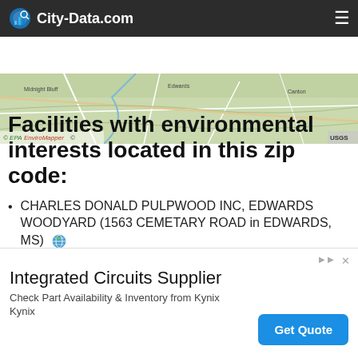City-Data.com
[Figure (map): EPA EnviroMapper topographic map showing roads and terrain in Edwards, MS area. USGS source noted at bottom right.]
Facilities with environmental interests located in this zip code:
CHARLES DONALD PULPWOOD INC, EDWARDS WOODYARD (1563 CEMETARY ROAD in EDWARDS, MS)
STATE MASTER (Mississippi compliance, permits, activity tracking ) - ENSITE-MS0055565, National Pollutant Discharge Elimination System Permit National Pollutant Discharge Elimination System
Integrated Circuits Supplier
Check Part Availability & Inventory from Kynix
Kynix